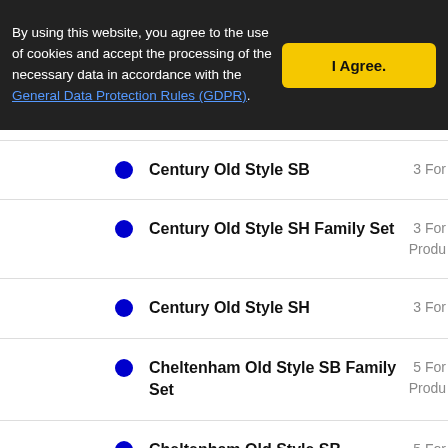By using this website, you agree to the use of cookies and accept the processing of the necessary data in accordance with the General Data Protection Rules (GDPR).
Century Old Style SB — 3 Fon...
Century Old Style SH Family Set — 3 Fon... Produ...
Century Old Style SH — 3 Fon...
Cheltenham Old Style SB Family Set — 5 Fon... Produ...
Cheltenham Old Style SB — 5 Fon...
Cloister Old Style SB Family Set — 4 Fon... Produ...
Cloister Old Style SB — 4 Fon...